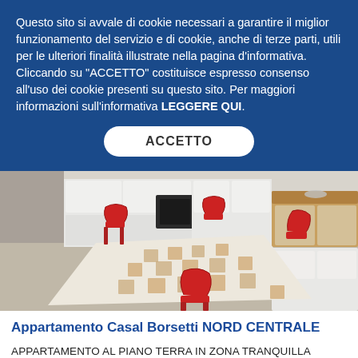Questo sito si avvale di cookie necessari a garantire il miglior funzionamento del servizio e di cookie, anche di terze parti, utili per le ulteriori finalità illustrate nella pagina d'informativa. Cliccando su "ACCETTO" costituisce espresso consenso all'uso dei cookie presenti su questo sito. Per maggiori informazioni sull'informativa LEGGERE QUI.
ACCETTO
[Figure (photo): Interior photo of a kitchen/dining area with a table covered in a patterned tablecloth, red chairs, white kitchen cabinets, and a wooden sideboard on the right.]
Appartamento Casal Borsetti NORD CENTRALE
APPARTAMENTO AL PIANO TERRA IN ZONA TRANQUILLA E RISERVATA CON AMPIO GIARDINO E COMPOSTO DA: